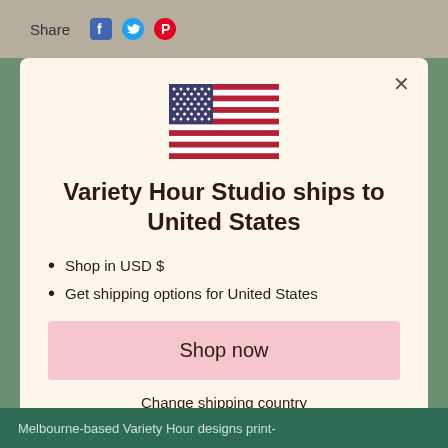Share
[Figure (illustration): US flag emoji illustration centered in the modal]
Variety Hour Studio ships to United States
Shop in USD $
Get shipping options for United States
Shop now
Change shipping country
Melbourne-based Variety Hour designs print-